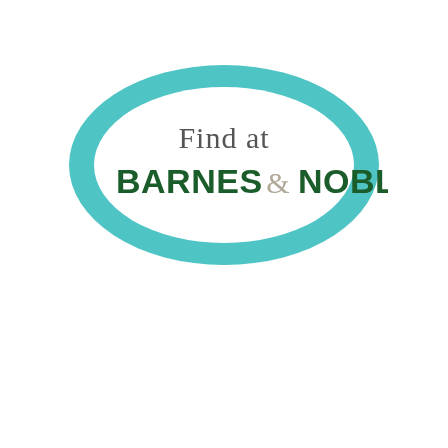[Figure (logo): Barnes & Noble 'Find at Barnes & Noble' badge logo: teal/turquoise oval border with white fill, text 'Find at' in dark gray above 'BARNES & NOBLE' in dark green bold uppercase with a light gray ampersand]